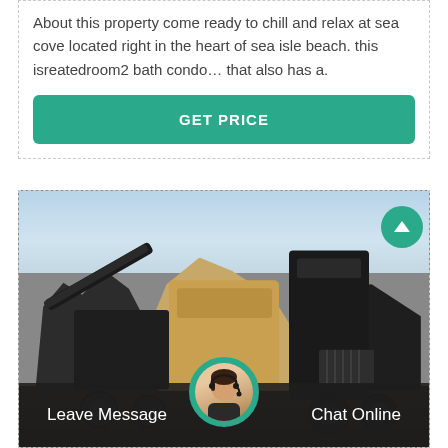About this property come ready to chill and relax at sea cove located right in the heart of sea isle beach. this isreatedroom2 bath condo… that also has a.
GET PRICE
[Figure (photo): Outdoor photo of a large mobile rock crushing/mining machine with conveyor belts, set on a dirt/gravel area under a blue sky. The heavy industrial equipment is dark-colored with tan/yellow crusher components.]
Leave Message
Chat Online